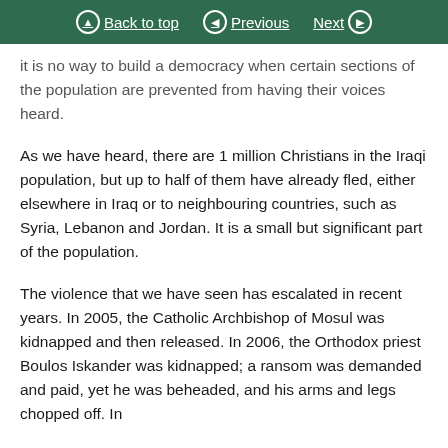Back to top | Previous | Next
it is no way to build a democracy when certain sections of the population are prevented from having their voices heard.
As we have heard, there are 1 million Christians in the Iraqi population, but up to half of them have already fled, either elsewhere in Iraq or to neighbouring countries, such as Syria, Lebanon and Jordan. It is a small but significant part of the population.
The violence that we have seen has escalated in recent years. In 2005, the Catholic Archbishop of Mosul was kidnapped and then released. In 2006, the Orthodox priest Boulos Iskander was kidnapped; a ransom was demanded and paid, yet he was beheaded, and his arms and legs chopped off. In